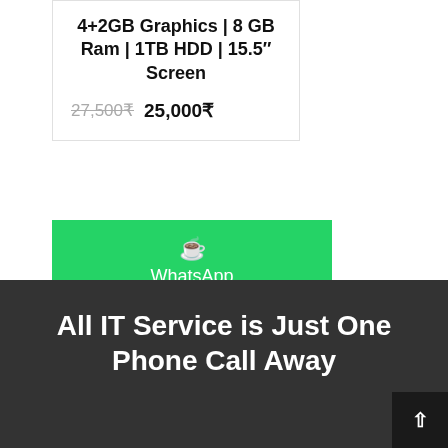4+2GB Graphics | 8 GB Ram | 1TB HDD | 15.5" Screen
27,500₹ 25,000₹
[Figure (other): Green WhatsApp button with WhatsApp icon and text 'WhatsApp']
All IT Service is Just One Phone Call Away